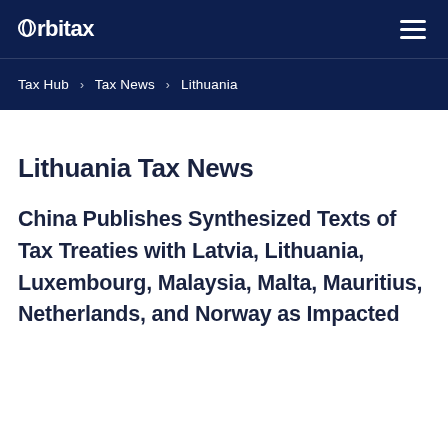orbitax
Tax Hub > Tax News > Lithuania
Lithuania Tax News
China Publishes Synthesized Texts of Tax Treaties with Latvia, Lithuania, Luxembourg, Malaysia, Malta, Mauritius, Netherlands, and Norway as Impacted